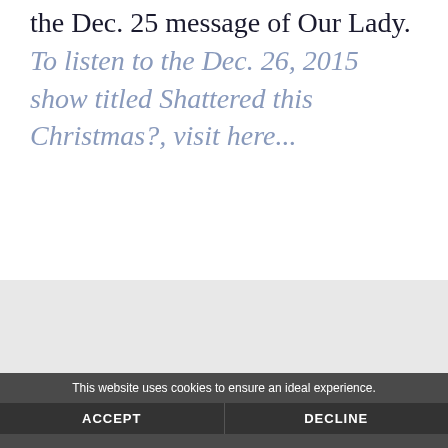the Dec. 25 message of Our Lady. To listen to the Dec. 26, 2015 show titled Shattered this Christmas?, visit here...
This website uses cookies to ensure an ideal experience.
ACCEPT
DECLINE